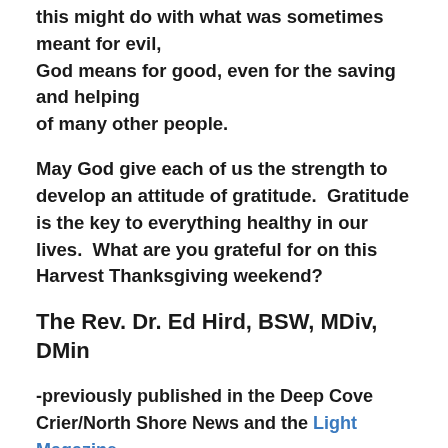this might do with what was sometimes meant for evil, God means for good, even for the saving and helping of many other people.
May God give each of us the strength to develop an attitude of gratitude.  Gratitude is the key to everything healthy in our lives.  What are you grateful for on this Harvest Thanksgiving weekend?
The Rev. Dr. Ed Hird, BSW, MDiv, DMin
-previously published in the Deep Cove Crier/North Shore News and the Light Magazine
P. S. Click this Amazon link to view for free the first two chapters of our new novel Blue Sky.
“I’m afraid there’s been an accident…”